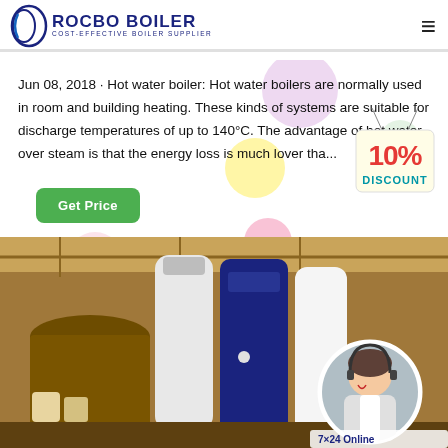ROCBO BOILER - COST-EFFECTIVE BOILER SUPPLIER
Jun 08, 2018 · Hot water boiler: Hot water boilers are normally used in room and building heating. These kinds of systems are suitable for discharge temperatures of up to 140°C. The advantage of hot water over steam is that the energy loss is much lower tha...
[Figure (other): Green 'Get Price' button]
[Figure (other): 10% DISCOUNT promotional badge hanging sign]
[Figure (photo): Industrial boiler equipment in a factory setting with white cylindrical boiler tanks; circular inset of a female customer service agent wearing a headset; '7×24 Online' label at bottom right]